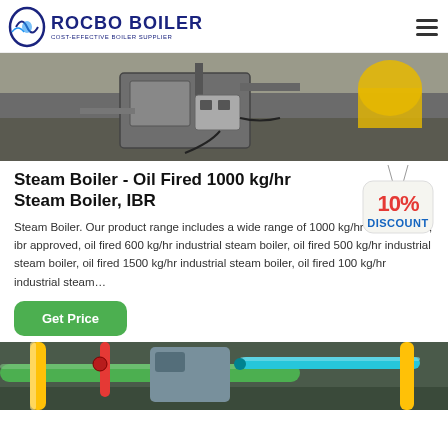ROCBO BOILER - COST-EFFECTIVE BOILER SUPPLIER
[Figure (photo): Industrial steam boiler equipment photographed outdoors, showing mechanical components, pipes and a yellow tank in background]
Steam Boiler - Oil Fired 1000 kg/hr Steam Boiler, IBR
[Figure (infographic): 10% DISCOUNT badge/sticker graphic]
Steam Boiler. Our product range includes a wide range of 1000 kg/hr steam boiler, ibr approved, oil fired 600 kg/hr industrial steam boiler, oil fired 500 kg/hr industrial steam boiler, oil fired 1500 kg/hr industrial steam boiler, oil fired 100 kg/hr industrial steam…
Get Price
[Figure (photo): Industrial boiler system with green, yellow and red pipes and components]